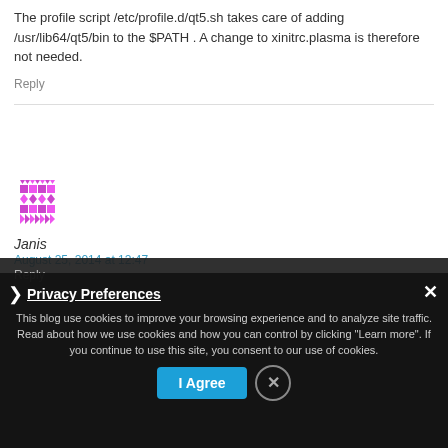The profile script /etc/profile.d/qt5.sh takes care of adding /usr/lib64/qt5/bin to the $PATH . A change to xinitrc.plasma is therefore not needed.
Reply
[Figure (illustration): Purple/magenta geometric mosaic avatar icon for user Janis]
Janis
August 25, 2014 at 12:47
Hi! It seams yo forgot about ktorrent and libs as to-be-kept. Or 4.13.3 has it deeply buried somewhere?
Reply
Privacy Preferences
This blog use cookies to improve your browsing experience and to analyze site traffic. Read about how we use cookies and how you can control by clicking "Learn more". If you continue to use this site, you consent to our use of cookies.
I Agree